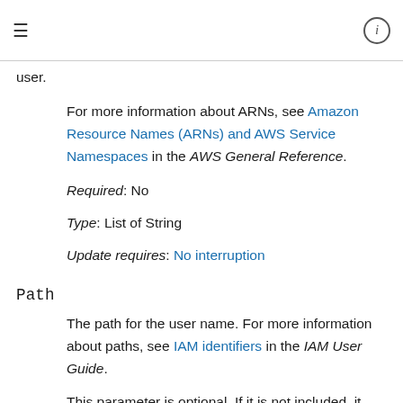≡  ⓘ
user.
For more information about ARNs, see Amazon Resource Names (ARNs) and AWS Service Namespaces in the AWS General Reference.
Required: No
Type: List of String
Update requires: No interruption
Path
The path for the user name. For more information about paths, see IAM identifiers in the IAM User Guide.
This parameter is optional. If it is not included, it defaults to a slash (/).